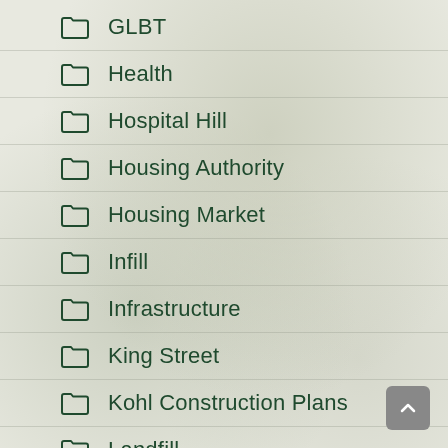GLBT
Health
Hospital Hill
Housing Authority
Housing Market
Infill
Infrastructure
King Street
Kohl Construction Plans
Landfill